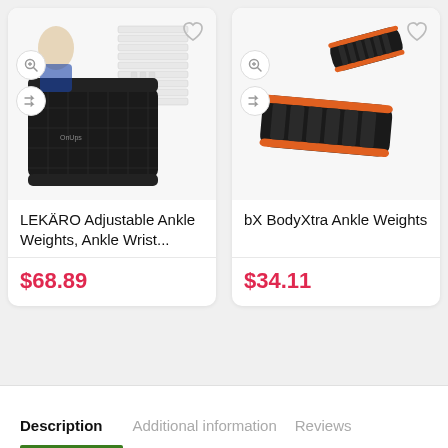[Figure (photo): Product photo of LEKÄRO Adjustable Ankle Weights - black fabric weight set with individual weight pockets and straps, shown with individual weight bars alongside]
LEKÄRO Adjustable Ankle Weights, Ankle Wrist...
$68.89
[Figure (photo): Product photo of bX BodyXtra Ankle Weights - black neoprene ankle weights with orange trim/edges, two pieces shown]
bX BodyXtra Ankle Weights
$34.11
Description
Additional information
Reviews